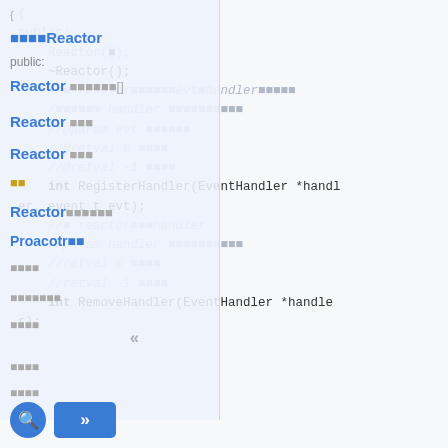Code documentation page showing Reactor class with RegisterHandler and RemoveHandler methods, overlaid with a sidebar navigation showing class members.
[Figure (screenshot): Source code documentation page for a Reactor class in C++, showing method signatures including RegisterHandler(EventHandler *handler, event_t evt) and RemoveHandler(EventHandler *handle, with Japanese character overlays for a sidebar navigation panel listing class members. Comments include //@param and //@retval annotations.]